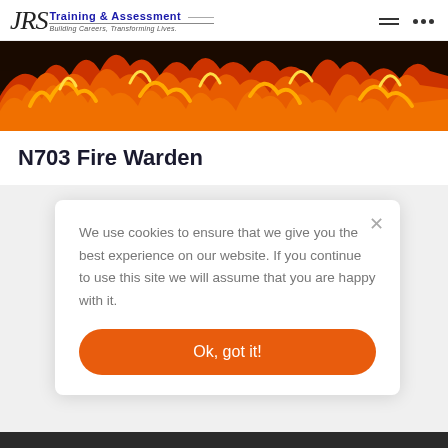JRS Training & Assessment — Building Careers, Transforming Lives.
[Figure (photo): Close-up of orange and yellow fire flames against a dark background, used as a hero banner image for the Fire Warden course page.]
N703 Fire Warden
We use cookies to ensure that we give you the best experience on our website. If you continue to use this site we will assume that you are happy with it.
Ok, got it!